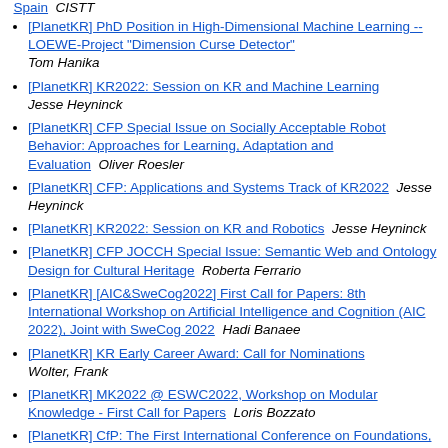Spain  CISTT
[PlanetKR] PhD Position in High-Dimensional Machine Learning -- LOEWE-Project "Dimension Curse Detector"  Tom Hanika
[PlanetKR] KR2022: Session on KR and Machine Learning  Jesse Heyninck
[PlanetKR] CFP Special Issue on Socially Acceptable Robot Behavior: Approaches for Learning, Adaptation and Evaluation   Oliver Roesler
[PlanetKR] CFP: Applications and Systems Track of KR2022   Jesse Heyninck
[PlanetKR] KR2022: Session on KR and Robotics   Jesse Heyninck
[PlanetKR] CFP JOCCH Special Issue: Semantic Web and Ontology Design for Cultural Heritage   Roberta Ferrario
[PlanetKR] [AIC&SweCog2022] First Call for Papers: 8th International Workshop on Artificial Intelligence and Cognition (AIC 2022), Joint with SweCog 2022   Hadi Banaee
[PlanetKR] KR Early Career Award: Call for Nominations  Wolter, Frank
[PlanetKR] MK2022 @ ESWC2022, Workshop on Modular Knowledge - First Call for Papers   Loris Bozzato
[PlanetKR] CfP: The First International Conference on Foundations, Applications, and Theory of Inductive Logic (FATIL'22)   Matthias Thimm